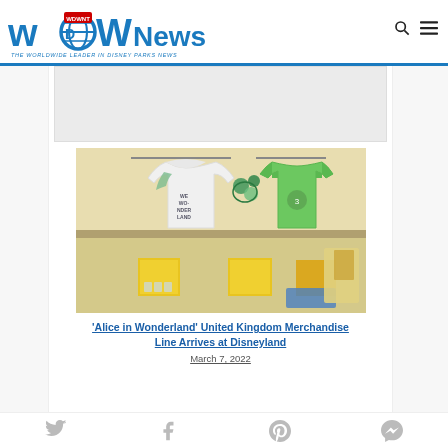WDW News Today — THE WORLDWIDE LEADER IN DISNEY PARKS NEWS
[Figure (photo): Merchandise display in a store showing white hoodie with 'Wonderland' text, green t-shirt, and Alice in Wonderland themed accessories including Minnie ears in green and teal, on shelving with yellow cube display units.]
'Alice in Wonderland' United Kingdom Merchandise Line Arrives at Disneyland
March 7, 2022
Social share icons: Twitter, Facebook, Pinterest, Messenger